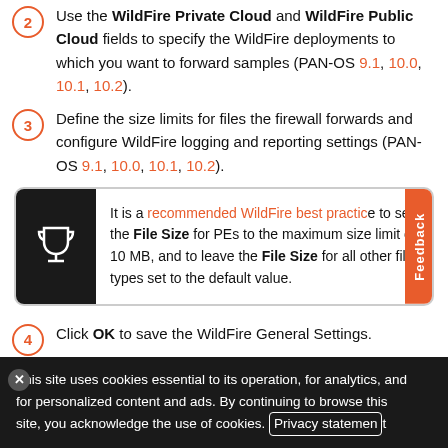Use the WildFire Private Cloud and WildFire Public Cloud fields to specify the WildFire deployments to which you want to forward samples (PAN-OS 9.1, 10.0, 10.1, 10.2).
Define the size limits for files the firewall forwards and configure WildFire logging and reporting settings (PAN-OS 9.1, 10.0, 10.1, 10.2).
It is a recommended WildFire best practice to set the File Size for PEs to the maximum size limit of 10 MB, and to leave the File Size for all other file types set to the default value.
Click OK to save the WildFire General Settings.
This site uses cookies essential to its operation, for analytics, and for personalized content and ads. By continuing to browse this site, you acknowledge the use of cookies. Privacy statement